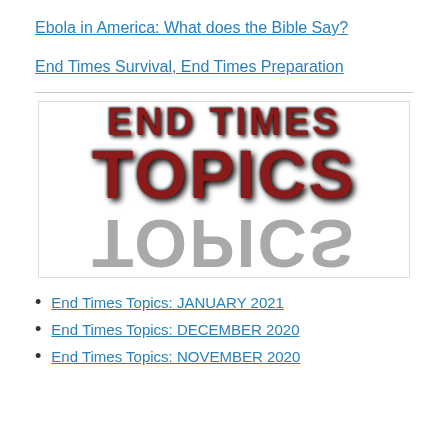Ebola in America: What does the Bible Say?
End Times Survival, End Times Preparation
[Figure (logo): End Times Topics logo with large stylized text 'END TIMES TOPICS' and a reflected/mirrored version of 'TOPICS' below it, in dark red metallic style on white background]
End Times Topics: JANUARY 2021
End Times Topics: DECEMBER 2020
End Times Topics: NOVEMBER 2020